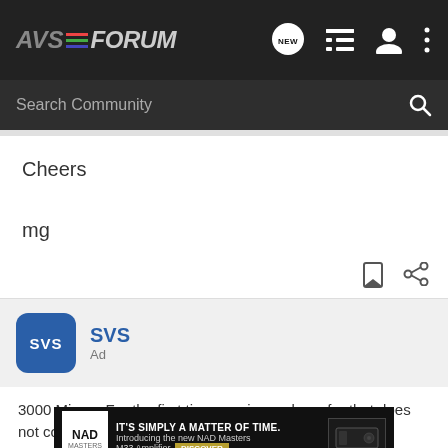AVS FORUM — navigation bar with search
Cheers
mg
[Figure (logo): SVS advertisement logo and label]
3000 Micro - For the first time, a micro subwoofer that does not compromise and The SV...
[Figure (screenshot): NAD Masters M33 Amplifier advertisement banner — IT'S SIMPLY A MATTER OF TIME. Introducing the new NAD Masters M33 Amplifier. DISCOVER]